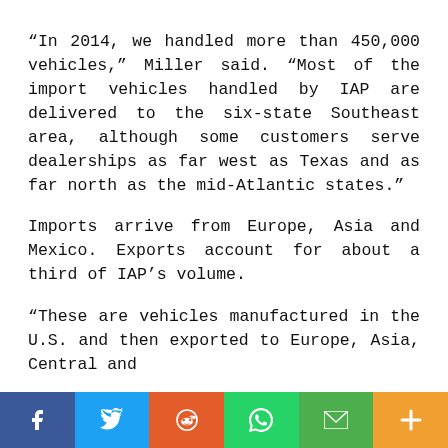“In 2014, we handled more than 450,000 vehicles,” Miller said. “Most of the import vehicles handled by IAP are delivered to the six-state Southeast area, although some customers serve dealerships as far west as Texas and as far north as the mid-Atlantic states.”
Imports arrive from Europe, Asia and Mexico. Exports account for about a third of IAP’s volume.
“These are vehicles manufactured in the U.S. and then exported to Europe, Asia, Central and